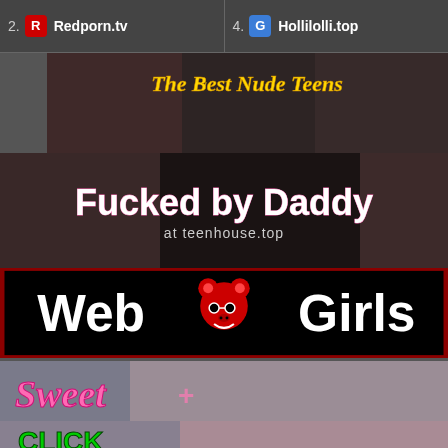2. Redporn.tv
4. Hollilolli.top
[Figure (photo): Collage banner: 'The Best Nude Teens' text overlay on photo collage]
[Figure (photo): Banner: 'Fucked by Daddy at teenhouse.top' with photo collage background]
[Figure (photo): Banner: 'Web Girls' with animated girl mascot icon in black background with red border]
[Figure (photo): Banner: 'Sweet' text with smiling girl photo]
[Figure (photo): Banner: 'CLICK HERE!' in green bold letters with blonde girl photo]
[Figure (photo): Banner: 'KITTY CUTE' on yellow background]